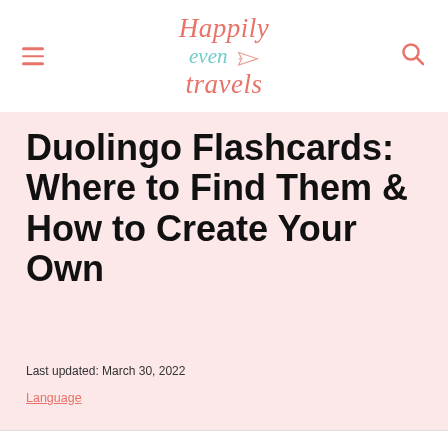Happily Even Travels
Duolingo Flashcards: Where to Find Them & How to Create Your Own
Last updated: March 30, 2022
Language